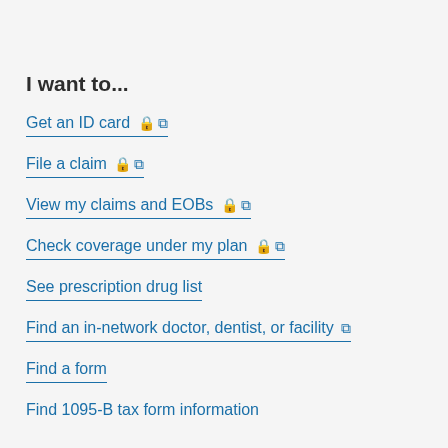I want to...
Get an ID card 🔒 ↗
File a claim 🔒 ↗
View my claims and EOBs 🔒 ↗
Check coverage under my plan 🔒 ↗
See prescription drug list
Find an in-network doctor, dentist, or facility ↗
Find a form
Find 1095-B tax form information